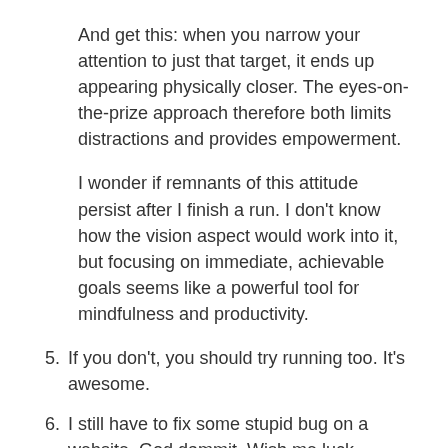And get this: when you narrow your attention to just that target, it ends up appearing physically closer. The eyes-on-the-prize approach therefore both limits distractions and provides empowerment.
I wonder if remnants of this attitude persist after I finish a run. I don't know how the vision aspect would work into it, but focusing on immediate, achievable goals seems like a powerful tool for mindfulness and productivity.
5. If you don't, you should try running too. It's awesome.
6. I still have to fix some stupid bug on a website. God dammit. Wish me luck.
Just an hour after this post went up, I was emailed—and I shit you not—about the exact same aforementioned essay